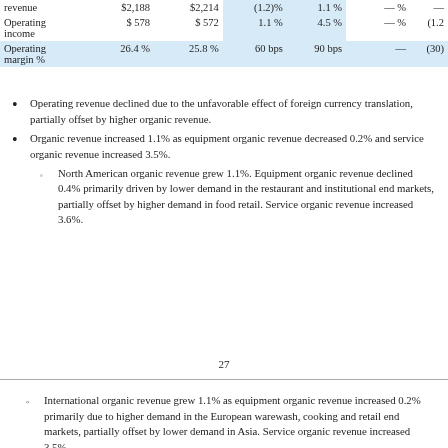|  |  |  |  |  |  |  |
| --- | --- | --- | --- | --- | --- | --- |
| revenue | $2,188 | $2,214 | (1.2)% | 1.1 % | — % | — |
| Operating income | $ 578 | $ 572 | 1.1 % | 4.5 % | — % | (1.2 |
| Operating margin % | 26.4 % | 25.8 % | 60 bps | 90 bps | — | (30) |
Operating revenue declined due to the unfavorable effect of foreign currency translation, partially offset by higher organic revenue.
Organic revenue increased 1.1% as equipment organic revenue decreased 0.2% and service organic revenue increased 3.5%.
North American organic revenue grew 1.1%. Equipment organic revenue declined 0.4% primarily driven by lower demand in the restaurant and institutional end markets, partially offset by higher demand in food retail. Service organic revenue increased 3.6%.
27
International organic revenue grew 1.1% as equipment organic revenue increased 0.2% primarily due to higher demand in the European warewash, cooking and retail end markets, partially offset by lower demand in Asia. Service organic revenue increased 3.5%.